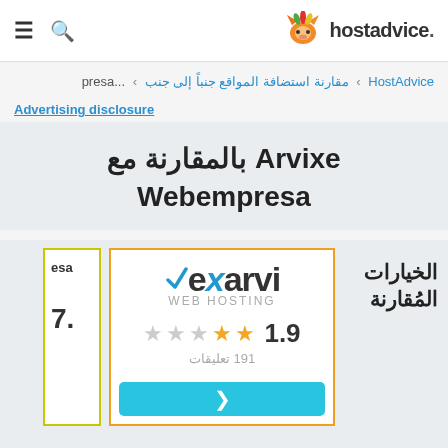hostadvice.
HostAdvice › مقارنة استضافة المواقع جنباً إلى جنب › presa...
Advertising disclosure
Arvixe بالمقارنة مع Webempresa
الخيارات المُقارنة
[Figure (logo): Arvixe web hosting logo with star rating 1.9 and 191 reviews]